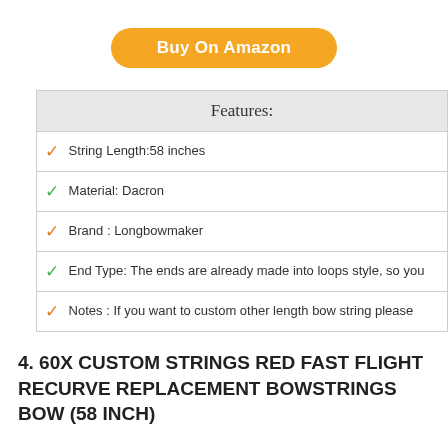[Figure (other): Orange rounded button with text 'Buy On Amazon']
| Features: |
| --- |
| ✓ String Length:58 inches |
| ✓ Material: Dacron |
| ✓ Brand : Longbowmaker |
| ✓ End Type: The ends are already made into loops style, so you |
| ✓ Notes : If you want to custom other length bow string please |
4. 60X CUSTOM STRINGS RED FAST FLIGHT RECURVE REPLACEMENT BOWSTRINGS BOW (58 INCH)
[Figure (other): Orange rounded button partially visible at bottom]